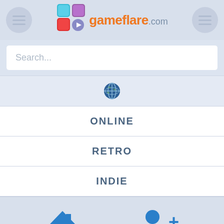[Figure (screenshot): Gameflare.com website header with logo, hamburger menu buttons on left and right, search bar, globe icon, navigation items ONLINE, RETRO, INDIE, home and user icons, and embed code bar at bottom]